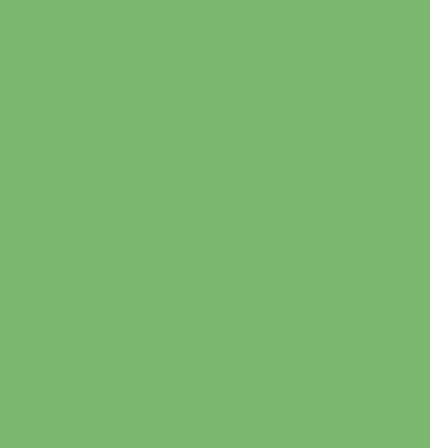gannu | ★ | (14761) [2007-08-30 2:03]
Goutham, Absolute beauty. Very nice sho
smurali | ★ | (3596) [2007-09-01 18:03]
Goutham, I thought the Indian Rollers we colorful appearance. Is there any color le Sharp and colorful.
- Murali Santhanam
Pentaxfriend | ★ | (8048) [2007-09-03 13:5]
WoW Goutham,

What a BEAUTY
Excellent compo with SUPERB sharpnes Pose, POV, DOF and BG are Great

TFS Thijs
arunk | ★ | (272) [2007-09-29 4:38]
Hi

Good picture ! bird colours look superb as satish told , after long time We are abl work

Regards
Arun krishnaiah